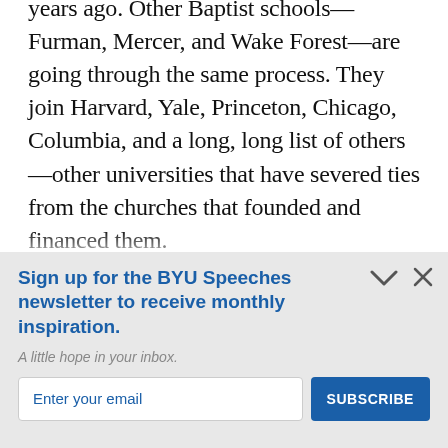years ago. Other Baptist schools—Furman, Mercer, and Wake Forest—are going through the same process. They join Harvard, Yale, Princeton, Chicago, Columbia, and a long, long list of others—other universities that have severed ties from the churches that founded and financed them.
Sign up for the BYU Speeches newsletter to receive monthly inspiration.
A little hope in your inbox.